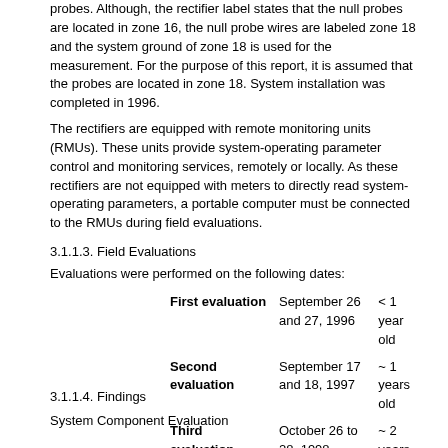probes. Although, the rectifier label states that the null probes are located in zone 16, the null probe wires are labeled zone 18 and the system ground of zone 18 is used for the measurement. For the purpose of this report, it is assumed that the probes are located in zone 18. System installation was completed in 1996.
The rectifiers are equipped with remote monitoring units (RMUs). These units provide system-operating parameter control and monitoring services, remotely or locally. As these rectifiers are not equipped with meters to directly read system-operating parameters, a portable computer must be connected to the RMUs during field evaluations.
3.1.1.3. Field Evaluations
Evaluations were performed on the following dates:
| First evaluation | September 26 and 27, 1996 | < 1 year old |
| Second evaluation | September 17 and 18, 1997 | ~ 1 years old |
| Third evaluation | October 26 to 28, 1998 | ~ 2 years old |
3.1.1.4. Findings
System Component Evaluation